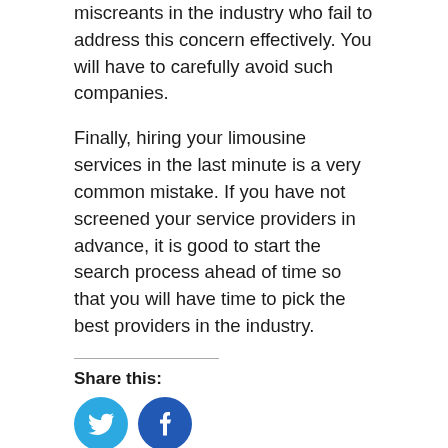miscreants in the industry who fail to address this concern effectively. You will have to carefully avoid such companies.
Finally, hiring your limousine services in the last minute is a very common mistake. If you have not screened your service providers in advance, it is good to start the search process ahead of time so that you will have time to pick the best providers in the industry.
Share this:
[Figure (infographic): Two circular social share buttons: Twitter (light blue) and Facebook (dark blue)]
This entry was posted in Airport Limousine, Charlotte Limousine Service, executive car service, limo, Limousine and tagged limo, limousine.